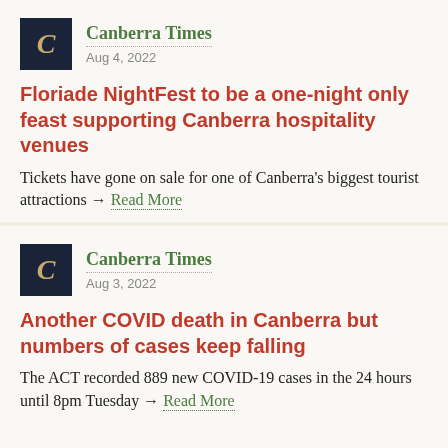Canberra Times · Aug 4, 2022
Floriade NightFest to be a one-night only feast supporting Canberra hospitality venues
Tickets have gone on sale for one of Canberra's biggest tourist attractions → Read More
Canberra Times · Aug 3, 2022
Another COVID death in Canberra but numbers of cases keep falling
The ACT recorded 889 new COVID-19 cases in the 24 hours until 8pm Tuesday → Read More